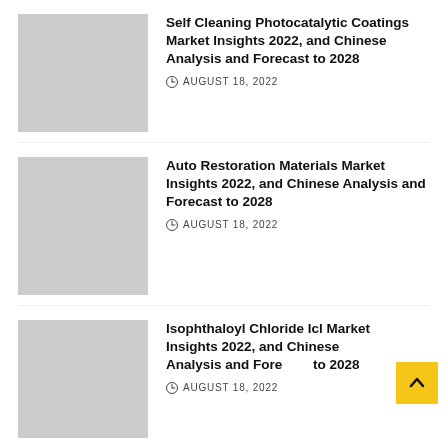Self Cleaning Photocatalytic Coatings Market Insights 2022, and Chinese Analysis and Forecast to 2028
AUGUST 18, 2022
Auto Restoration Materials Market Insights 2022, and Chinese Analysis and Forecast to 2028
AUGUST 18, 2022
Isophthaloyl Chloride Icl Market Insights 2022, and Chinese Analysis and Forecast to 2028
AUGUST 18, 2022